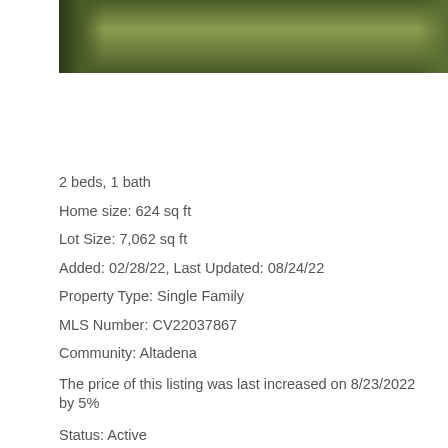[Figure (photo): Aerial or ground-level photo of a grass lawn with a dark shrub/tree on the left edge and light concrete visible at far right.]
2 beds, 1 bath
Home size: 624 sq ft
Lot Size: 7,062 sq ft
Added: 02/28/22, Last Updated: 08/24/22
Property Type: Single Family
MLS Number: CV22037867
Community: Altadena
The price of this listing was last increased on 8/23/2022 by 5%
Status: Active